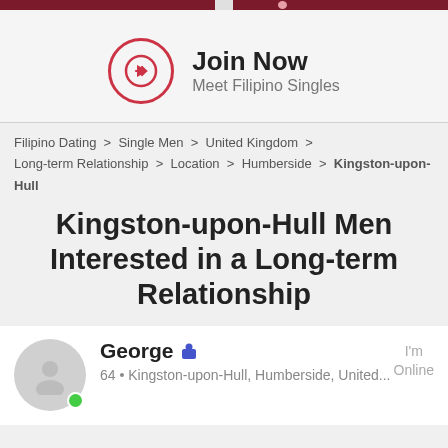[Figure (other): Top navigation bar with dark red background, split with a small gap and pink dot]
[Figure (other): Join Now button area with circular arrow icon and text 'Join Now / Meet Filipino Singles']
Filipino Dating > Single Men > United Kingdom > Long-term Relationship > Location > Humberside > Kingston-upon-Hull
Kingston-upon-Hull Men Interested in a Long-term Relationship
George  64 • Kingston-upon-Hull, Humberside, United...  I'm Online